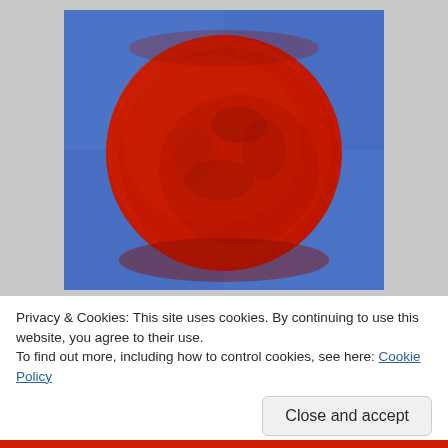[Figure (illustration): A painting of a large red circle on a blue background, resembling an abstract artwork or Bangladeshi flag motif. The red circle has textured, uneven edges against a flat blue square canvas.]
Privacy & Cookies: This site uses cookies. By continuing to use this website, you agree to their use.
To find out more, including how to control cookies, see here: Cookie Policy
Close and accept